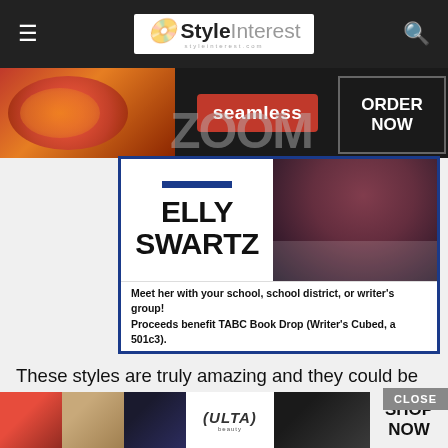StyleInterest
[Figure (photo): Seamless food delivery advertisement banner with pizza image, seamless logo, and ORDER NOW button]
[Figure (photo): Book promotion ad featuring Elly Swartz with text 'Meet her with your school, school district, or writer's group! Proceeds benefit TABC Book Drop (Writer's Cubed, a 501c3).']
These styles are truly amazing and they could be used on long hair, short hair or even medium hair. It's not a style that any woman can pull off, sometimes it just depends on the shape of your head. Many women do give it a shot though and if you are brave enough, then it is sure to give you an edgier look. It doesn't hurt to give it a try; hair will always grow b
[Figure (photo): Ulta Beauty advertisement banner with makeup images and SHOP NOW button]